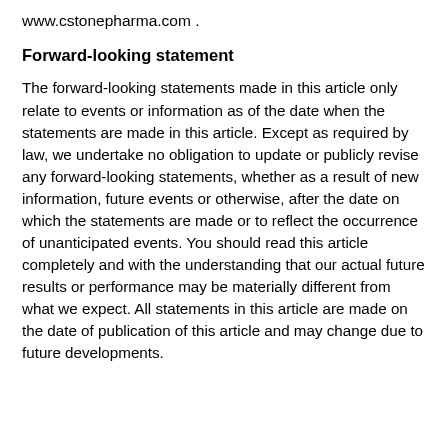www.cstonepharma.com .
Forward-looking statement
The forward-looking statements made in this article only relate to events or information as of the date when the statements are made in this article. Except as required by law, we undertake no obligation to update or publicly revise any forward-looking statements, whether as a result of new information, future events or otherwise, after the date on which the statements are made or to reflect the occurrence of unanticipated events. You should read this article completely and with the understanding that our actual future results or performance may be materially different from what we expect. All statements in this article are made on the date of publication of this article and may change due to future developments.